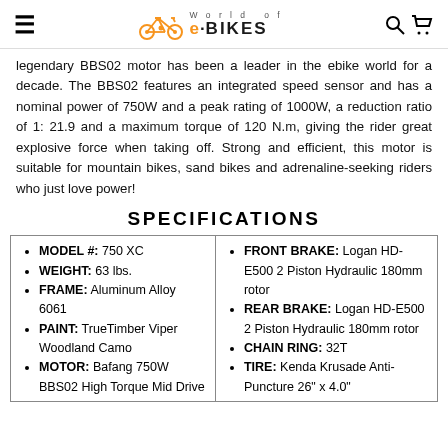World of e·BIKES
legendary BBS02 motor has been a leader in the ebike world for a decade. The BBS02 features an integrated speed sensor and has a nominal power of 750W and a peak rating of 1000W, a reduction ratio of 1: 21.9 and a maximum torque of 120 N.m, giving the rider great explosive force when taking off. Strong and efficient, this motor is suitable for mountain bikes, sand bikes and adrenaline-seeking riders who just love power!
SPECIFICATIONS
| MODEL #: 750 XC
WEIGHT: 63 lbs.
FRAME: Aluminum Alloy 6061
PAINT: TrueTimber Viper Woodland Camo
MOTOR: Bafang 750W BBS02 High Torque Mid Drive | FRONT BRAKE: Logan HD-E500 2 Piston Hydraulic 180mm rotor
REAR BRAKE: Logan HD-E500 2 Piston Hydraulic 180mm rotor
CHAIN RING: 32T
TIRE: Kenda Krusade Anti-Puncture 26" x 4.0" |